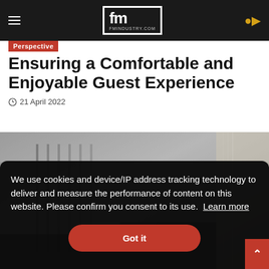fm FMINDUSTRY.COM
Perspective
Ensuring a Comfortable and Enjoyable Guest Experience
21 April 2022
[Figure (photo): Interior hotel room photo showing a modern room with vertical wall paneling and furniture in muted gray tones]
We use cookies and device/IP address tracking technology to deliver and measure the performance of content on this website. Please confirm you consent to its use.  Learn more
Got it